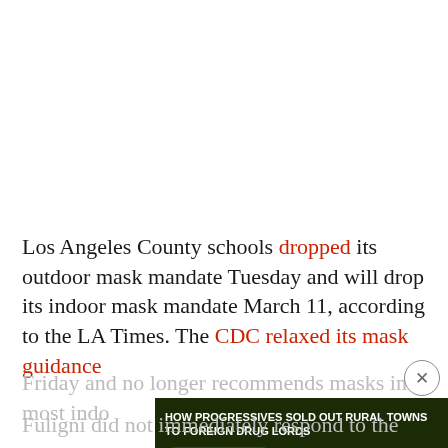Los Angeles County schools dropped its outdoor mask mandate Tuesday and will drop its indoor mask mandate March 11, according to the LA Times. The CDC relaxed its mask guidance Friday and no longer recommends masks in most indo...
[Figure (other): Advertisement banner: 'HOW PROGRESSIVES SOLD OUT RURAL TOWNS TO FOREIGN DRUG LORDS' with a WATCH NOW button and NARCOFORNIA branding on a dark green background with cannabis leaf imagery. An X close button appears top right.]
Fuligni did not immediately respond to the Daily...